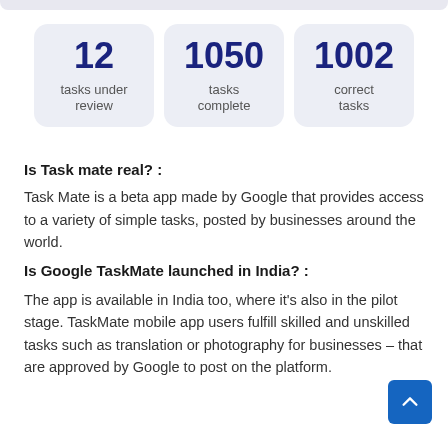[Figure (infographic): Three stat cards showing: 12 tasks under review, 1050 tasks complete, 1002 correct tasks]
Is Task mate real? :
Task Mate is a beta app made by Google that provides access to a variety of simple tasks, posted by businesses around the world.
Is Google TaskMate launched in India? :
The app is available in India too, where it's also in the pilot stage. TaskMate mobile app users fulfill skilled and unskilled tasks such as translation or photography for businesses – that are approved by Google to post on the platform.